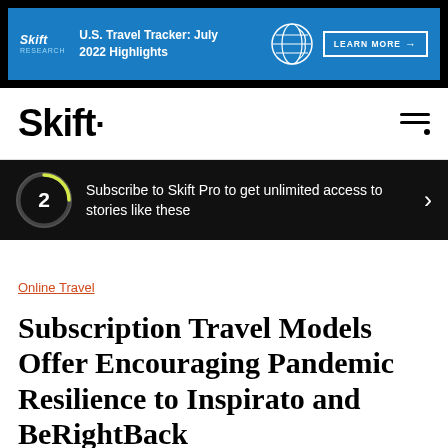[Figure (screenshot): Skift Research advertisement banner: blue background with Skift logo, text 'U.S. Travel Tracker: July 2022 Highlights', globe icon, and 'LEARN MORE' button]
Skift·
2 Subscribe to Skift Pro to get unlimited access to stories like these
Online Travel
Subscription Travel Models Offer Encouraging Pandemic Resilience to Inspirato and BeRightBack